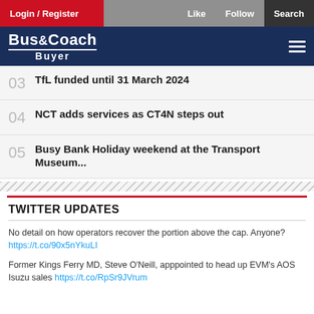Login / Register  Like  Follow  Search
Bus&Coach Buyer
03  TfL funded until 31 March 2024
04  NCT adds services as CT4N steps out
05  Busy Bank Holiday weekend at the Transport Museum...
TWITTER UPDATES
No detail on how operators recover the portion above the cap. Anyone? https://t.co/90x5nYkuLI
Former Kings Ferry MD, Steve O'Neill, apppointed to head up EVM's AOS Isuzu sales https://t.co/RpSr9JVrum